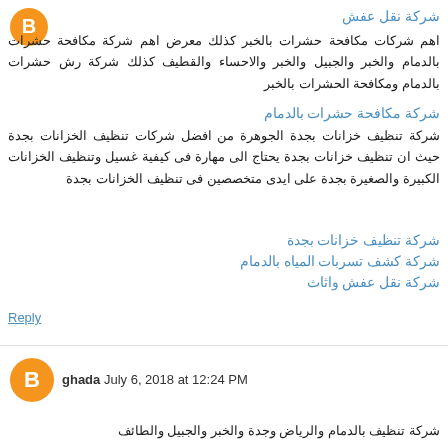[Figure (illustration): Orange circular avatar/logo with a stylized 'B' letter in white, top-left corner]
شركة نقل عفش
اهم شركات مكافحة حشرات بالخبر كذلك معرض اهم شركة مكافحة حشرات بالدمام والخبر والجبيل والخبر والاحساء والقطيف كذلك شركة رش حشرات بالدمام ومكافحة الحشرات بالخبر
شركة مكافحة حشرات بالدمام
شركة تنظيف خزانات بجدة الجوهرة من افضل شركات تنظيف الخزانات بجدة حيث ان تنظيف خزانات بجدة يحتاج الى مهارة فى كيفية غسيل وتنظيف الخزانات الكبيرة والصغيرة بجدة على ايدى متخصصين فى تنظيف الخزانات بجدة
شركة تنظيف خزانات بجدة
شركة كشف تسربات المياه بالدمام
شركة نقل عفش واثاث
Reply
[Figure (illustration): Orange circular avatar with a stylized 'B' letter in white, for user ghada]
ghada July 6, 2018 at 12:24 PM
Arabic comment text partially visible at bottom